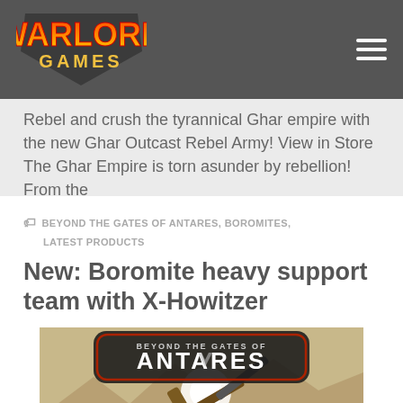[Figure (logo): Warlord Games logo in orange/yellow/red graphic lettering on dark grey header bar]
Rebel and crush the tyrannical Ghar empire with the new Ghar Outcast Rebel Army! View in Store The Ghar Empire is torn asunder by rebellion! From the
BEYOND THE GATES OF ANTARES, BOROMITES, LATEST PRODUCTS
New: Boromite heavy support team with X-Howitzer
[Figure (illustration): Beyond the Gates of Antares game logo image showing a sci-fi howitzer weapon being fired on a desert alien landscape, with the game logo prominently displayed at top]